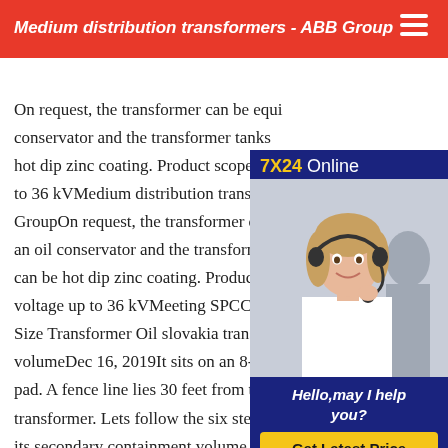Medium distribution transformers - ABB Group
On request, the transformer can be equipped with an oil conservator and the transformer tanks can be hot dip zinc coating. Product scope Primary voltage up to 36 kVMedium distribution transformers - ABB GroupOn request, the transformer can be equipped with an oil conservator and the transformer tanks can be hot dip zinc coating. Product scope Primary voltage up to 36 kVMeeting SPCC Regulations Size Transformer Oil slovakia transformer volumeDec 16, 2019It sits on an 8-ft. by 10-ft concrete pad. A fence line lies 30 feet from the side of the transformer. Lets follow the six steps above to calculate its secondary containment volume requirement Oil containment volume needed = 600 gallons x 1.1
[Figure (photo): Customer service representative advertisement with '7X24 Online' header, photo of a woman wearing a headset, 'Hello, may I help you?' text, and 'Get Latest Price' button on dark blue background]